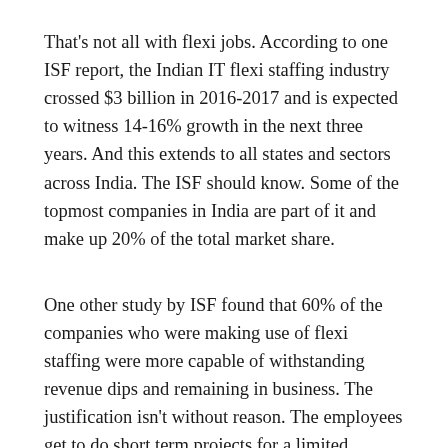That's not all with flexi jobs. According to one ISF report, the Indian IT flexi staffing industry crossed $3 billion in 2016-2017 and is expected to witness 14-16% growth in the next three years. And this extends to all states and sectors across India. The ISF should know. Some of the topmost companies in India are part of it and make up 20% of the total market share.
One other study by ISF found that 60% of the companies who were making use of flexi staffing were more capable of withstanding revenue dips and remaining in business. The justification isn't without reason. The employees get to do short term projects for a limited period, so they can take a break from work, and get back to working on a new project that will give a shine to their bio and also upgrade their skill set. They get the same pay and perks as the permanent